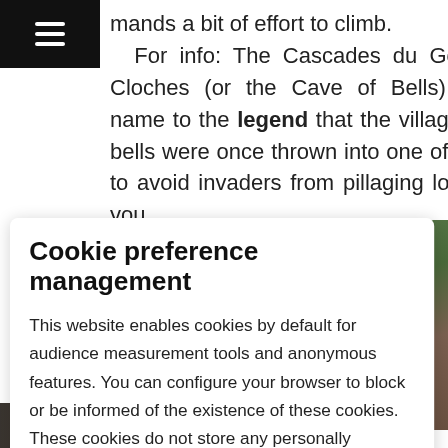mands a bit of effort to climb. For info: The Cascades du Gouffre des Cloches (or the Cave of Bells) lends its name to the legend that the village's church bells were once thrown into one of the caves to avoid invaders from pillaging locals. So if you
Cookie preference management
This website enables cookies by default for audience measurement tools and anonymous features. You can configure your browser to block or be informed of the existence of these cookies. These cookies do not store any personally identifying information.
Read more
No thanks | I choose | Ok for me